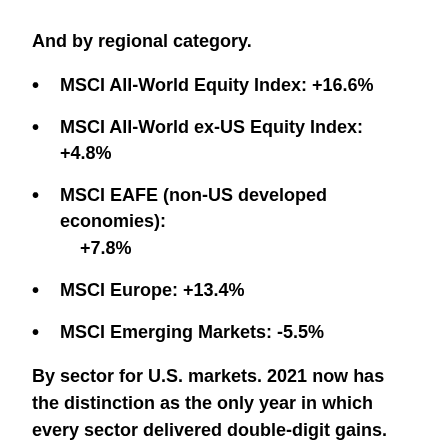And by regional category.
MSCI All-World Equity Index: +16.6%
MSCI All-World ex-US Equity Index: +4.8%
MSCI EAFE (non-US developed economies): +7.8%
MSCI Europe: +13.4%
MSCI Emerging Markets: -5.5%
By sector for U.S. markets. 2021 now has the distinction as the only year in which every sector delivered double-digit gains.